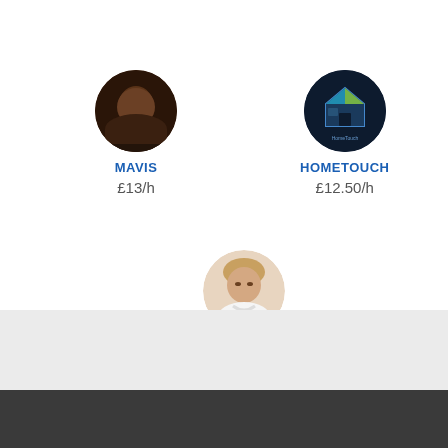[Figure (photo): Circular avatar photo of Mavis, a person with dark skin and a necklace]
MAVIS
£13/h
[Figure (logo): Circular dark navy HomeTouch logo with a house icon and blue/green roof triangles]
HOMETOUCH
£12.50/h
[Figure (photo): Circular avatar photo of Anamariact, a person with light skin wearing a white top]
ANAMARIACT
£12/h